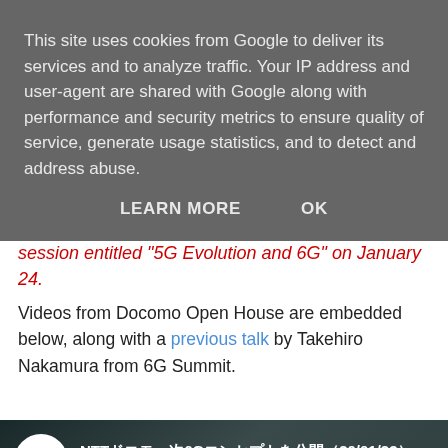This site uses cookies from Google to deliver its services and to analyze traffic. Your IP address and user-agent are shared with Google along with performance and security metrics to ensure quality of service, generate usage statistics, and to detect and address abuse.
LEARN MORE    OK
session entitled "5G Evolution and 6G" on January 24.
Videos from Docomo Open House are embedded below, along with a previous talk by Takehiro Nakamura from 6G Summit.
[Figure (screenshot): YouTube video thumbnail showing ANN NEWS logo, Japanese text title 'NTT　次6G　(20/01/23)', watermark 'YT2W', a green banner with Japanese text '5感を再現する', a YouTube play button, and a person in the background.]